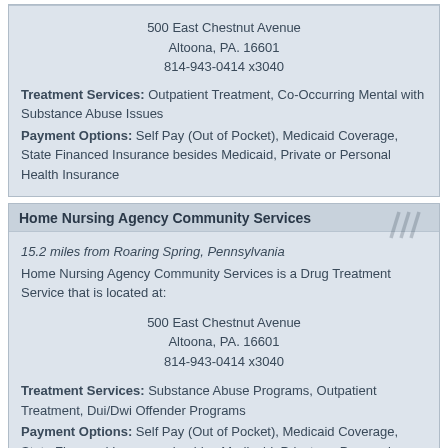500 East Chestnut Avenue
Altoona, PA. 16601
814-943-0414 x3040
Treatment Services: Outpatient Treatment, Co-Occurring Mental with Substance Abuse Issues
Payment Options: Self Pay (Out of Pocket), Medicaid Coverage, State Financed Insurance besides Medicaid, Private or Personal Health Insurance
Home Nursing Agency Community Services
15.2 miles from Roaring Spring, Pennsylvania
Home Nursing Agency Community Services is a Drug Treatment Service that is located at:
500 East Chestnut Avenue
Altoona, PA. 16601
814-943-0414 x3040
Treatment Services: Substance Abuse Programs, Outpatient Treatment, Dui/Dwi Offender Programs
Payment Options: Self Pay (Out of Pocket), Medicaid Coverage, State Financed Insurance besides Medicaid, Private or Personal Health Insurance
Cove Forge Behavorial Health System